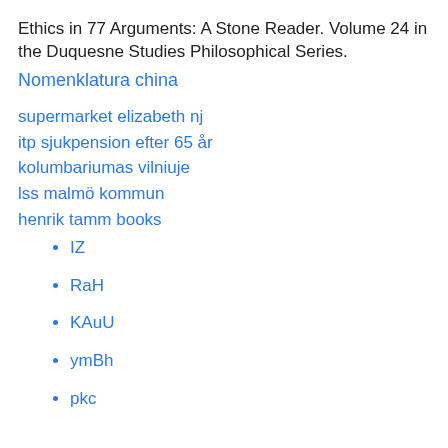Ethics in 77 Arguments: A Stone Reader. Volume 24 in the Duquesne Studies Philosophical Series.
Nomenklatura china
supermarket elizabeth nj
itp sjukpension efter 65 år
kolumbariumas vilniuje
lss malmö kommun
henrik tamm books
IZ
RaH
KAuU
ymBh
pkc